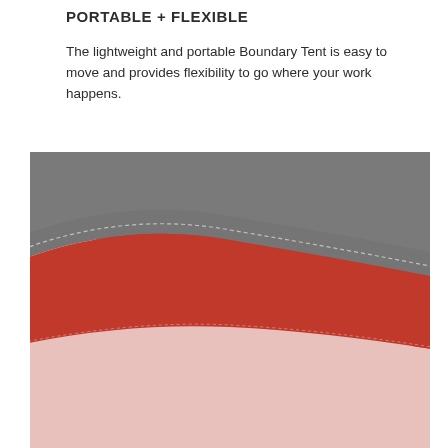PORTABLE + FLEXIBLE
The lightweight and portable Boundary Tent is easy to move and provides flexibility to go where your work happens.
[Figure (photo): Close-up photo of a circular padded tent or privacy pod showing layered fabric panels: an outer gray vinyl/leather trim border along the curved top edge, a middle red/crimson fabric section, and a lower blush/light pink fabric section. Stitching detail is visible along the seams.]